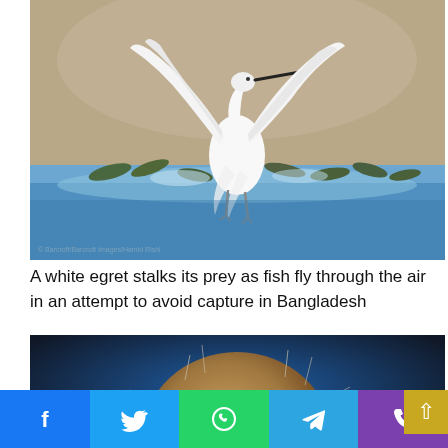[Figure (photo): A white egret with wings spread wide, standing in shallow water surrounded by jumping fish, photographed in Bangladesh. Blurred warm brown/grey background. Fish splashing in the foreground water. Watermark text visible at bottom left of image.]
A white egret stalks its prey as fish fly through the air in an attempt to avoid capture in Bangladesh
[Figure (photo): Close-up macro photograph of what appears to be a tiny creature or organism (possibly a dust mite or similar), showing a round brown body with visible surface texture, white oval egg-like structures, and fine hairs/bristles, against a dark blue background.]